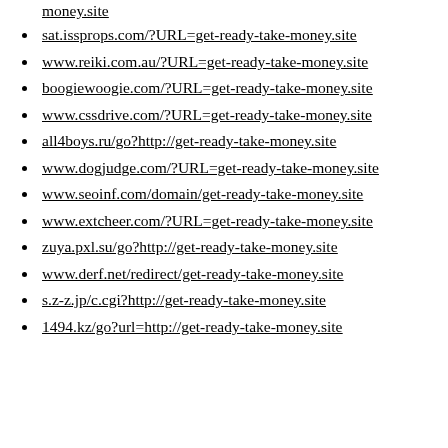money.site
sat.issprops.com/?URL=get-ready-take-money.site
www.reiki.com.au/?URL=get-ready-take-money.site
boogiewoogie.com/?URL=get-ready-take-money.site
www.cssdrive.com/?URL=get-ready-take-money.site
all4boys.ru/go?http://get-ready-take-money.site
www.dogjudge.com/?URL=get-ready-take-money.site
www.seoinf.com/domain/get-ready-take-money.site
www.extcheer.com/?URL=get-ready-take-money.site
zuya.pxl.su/go?http://get-ready-take-money.site
www.derf.net/redirect/get-ready-take-money.site
s.z-z.jp/c.cgi?http://get-ready-take-money.site
1494.kz/go?url=http://get-ready-take-money.site